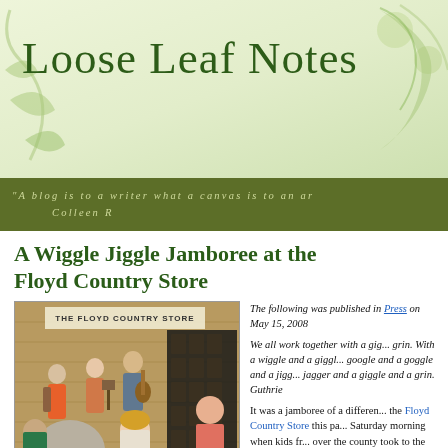Loose Leaf Notes
"A blog is to a writer what a canvas is to an a... Colleen R...
A Wiggle Jiggle Jamboree at the Floyd Country Store
[Figure (photo): Photo of musicians performing inside The Floyd Country Store, with audience members watching and a young girl in the foreground]
The following was published in... Press on May 15, 2008

We all work together with a gig... grin. With a wiggle and a giggl... google and a goggle and a jigg... jagger and a giggle and a grin. Guthrie

It was a jamboree of a different... the Floyd Country Store this pa... Saturday morning when kids fr... over the county took to the dan... wiggle and giggle to the music... Kovick. Some were students o...